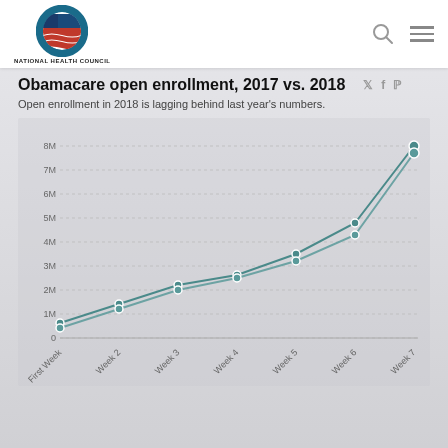National Health Council
Obamacare open enrollment, 2017 vs. 2018
Open enrollment in 2018 is lagging behind last year's numbers.
[Figure (line-chart): Obamacare open enrollment, 2017 vs. 2018]